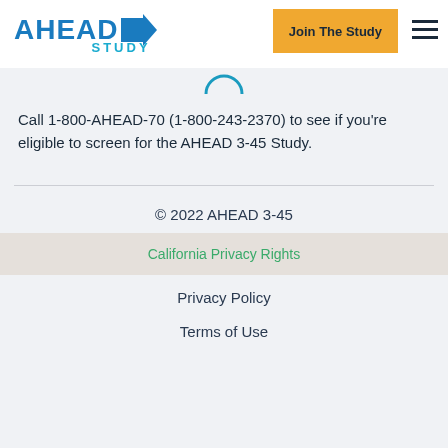[Figure (logo): AHEAD Study logo with blue arrow]
Call 1-800-AHEAD-70 (1-800-243-2370) to see if you're eligible to screen for the AHEAD 3-45 Study.
© 2022 AHEAD 3-45
California Privacy Rights
Privacy Policy
Terms of Use